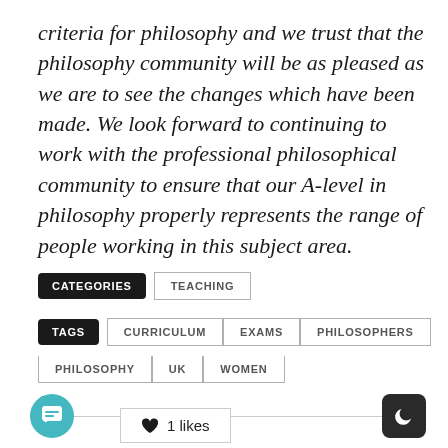criteria for philosophy and we trust that the philosophy community will be as pleased as we are to see the changes which have been made. We look forward to continuing to work with the professional philosophical community to ensure that our A-level in philosophy properly represents the range of people working in this subject area.
CATEGORIES   TEACHING
TAGS   CURRICULUM   EXAMS   PHILOSOPHERS   PHILOSOPHY   UK   WOMEN
13
1 likes